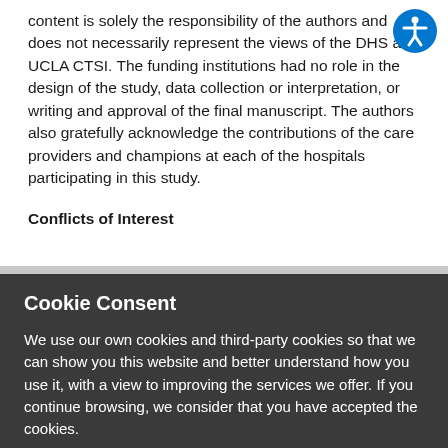content is solely the responsibility of the authors and does not necessarily represent the views of the DHS and UCLA CTSI. The funding institutions had no role in the design of the study, data collection or interpretation, or writing and approval of the final manuscript. The authors also gratefully acknowledge the contributions of the care providers and champions at each of the hospitals participating in this study.
Conflicts of Interest
Cookie Consent
We use our own cookies and third-party cookies so that we can show you this website and better understand how you use it, with a view to improving the services we offer. If you continue browsing, we consider that you have accepted the cookies.